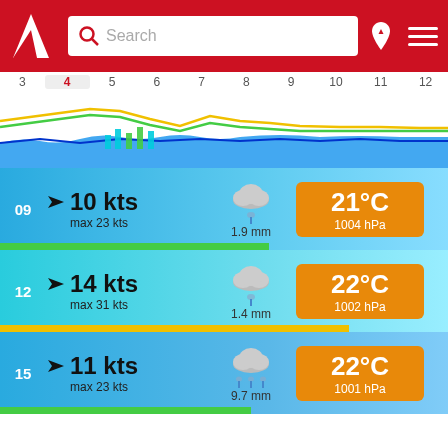[Figure (screenshot): Mobile weather app header with red background, logo, search bar, location pin and menu icons]
[Figure (continuous-plot): Timeline chart showing wind and weather forecast for hours 3–12, with colored wave lines and bar indicators]
09  10 kts  max 23 kts  1.9 mm  21°C  1004 hPa
12  14 kts  max 31 kts  1.4 mm  22°C  1002 hPa
15  11 kts  max 23 kts  9.7 mm  22°C  1001 hPa
18  6 kts  max 13 kts  7.2 mm  22°C  1001 hPa
21  5 kts  max 12 kts  7.2 mm  22°C  1002 hPa